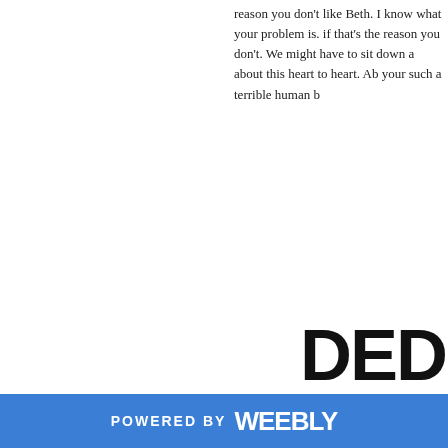reason you don't like Beth. I know what your problem is. if that's the reason you don't. We might have to sit down a about this heart to heart. Ab your such a terrible human b
[Figure (photo): Magazine cover partially visible, showing bold text 'DEDICA' and a woman with dramatic black and white makeup, black bob haircut, red lips, holding red gloves and a white/red prop, with small magazine details text visible]
POWERED BY weebly